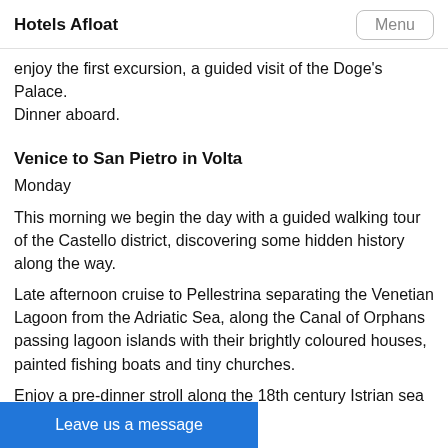Hotels Afloat
enjoy the first excursion, a guided visit of the Doge's Palace.
Dinner aboard.
Venice to San Pietro in Volta
Monday
This morning we begin the day with a guided walking tour of the Castello district, discovering some hidden history along the way.
Late afternoon cruise to Pellestrina separating the Venetian Lagoon from the Adriatic Sea, along the Canal of Orphans passing lagoon islands with their brightly coloured houses, painted fishing boats and tiny churches.
Enjoy a pre-dinner stroll along the 18th century Istrian sea w
Leave us a message